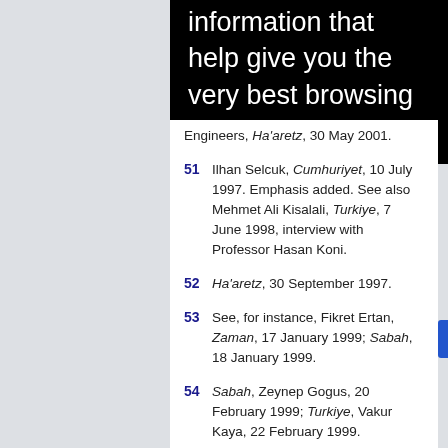information that help give you the very best browsing experience.
Engineers, Ha'aretz, 30 May 2001.
51  Ilhan Selcuk, Cumhuriyet, 10 July 1997. Emphasis added. See also Mehmet Ali Kisalali, Turkiye, 7 June 1998, interview with Professor Hasan Koni.
52  Ha'aretz, 30 September 1997.
53  See, for instance, Fikret Ertan, Zaman, 17 January 1999; Sabah, 18 January 1999.
54  Sabah, Zeynep Gogus, 20 February 1999; Turkiye, Vakur Kaya, 22 February 1999.
55  Barry Jacobs, Assistant Director, Office of Government and International Affairs, the American Jewish Committee, "The Role of the American Jewish